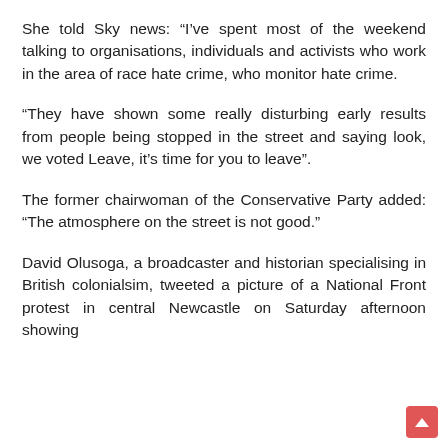She told Sky news: “I’ve spent most of the weekend talking to organisations, individuals and activists who work in the area of race hate crime, who monitor hate crime.
“They have shown some really disturbing early results from people being stopped in the street and saying look, we voted Leave, it’s time for you to leave”.
The former chairwoman of the Conservative Party added: “The atmosphere on the street is not good.”
David Olusoga, a broadcaster and historian specialising in British colonialsim, tweeted a picture of a National Front protest in central Newcastle on Saturday afternoon showing